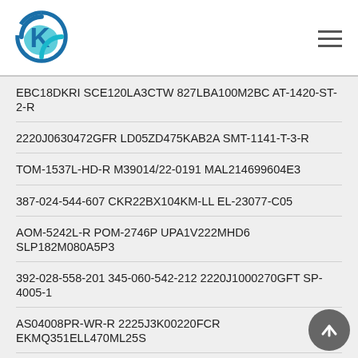[Figure (logo): Company logo with stylized K letter inside a circular design in blue and teal colors]
EBC18DKRI SCE120LA3CTW 827LBA100M2BC AT-1420-ST-2-R
2220J0630472GFR LD05ZD475KAB2A SMT-1141-T-3-R
TOM-1537L-HD-R M39014/22-0191 MAL214699604E3
387-024-544-607 CKR22BX104KM-LL EL-23077-C05
AOM-5242L-R POM-2746P UPA1V222MHD6 SLP182M080A5P3
392-028-558-201 345-060-542-212 2220J1000270GFT SP-4005-1
AS04008PR-WR-R 2225J3K00220FCR EKMQ351ELL470ML25S
345-036-523-258 346-042-520-203 EEC12DRXS-S734
2220Y6300332FCT EH-27157-000 FJ-26758-000 PSR-13N08A-JQ
2211YA250681GCRSP MALREKE00JL410J00K